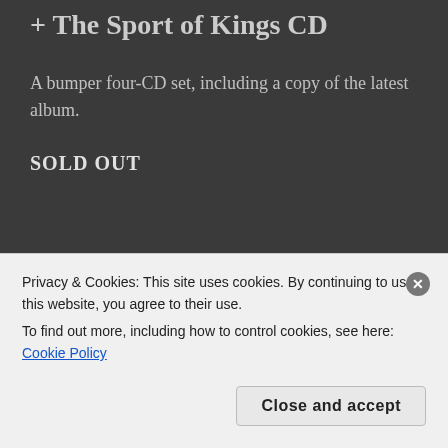+ The Sport of Kings CD
A bumper four-CD set, including a copy of the latest album.
SOLD OUT
[Figure (photo): Four album covers displayed in a horizontal strip: The Story of Ian Prowse (film strip style), Ian Prowse classical painting cover, Amsterdam cover with man on beach, and Pele album cover]
Privacy & Cookies: This site uses cookies. By continuing to use this website, you agree to their use.
To find out more, including how to control cookies, see here: Cookie Policy
Close and accept